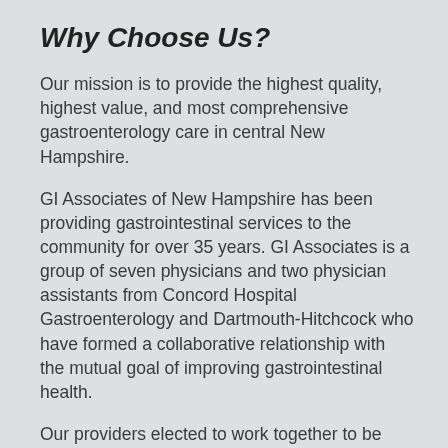Why Choose Us?
Our mission is to provide the highest quality, highest value, and most comprehensive gastroenterology care in central New Hampshire.
GI Associates of New Hampshire has been providing gastrointestinal services to the community for over 35 years. GI Associates is a group of seven physicians and two physician assistants from Concord Hospital Gastroenterology and Dartmouth-Hitchcock who have formed a collaborative relationship with the mutual goal of improving gastrointestinal health.
Our providers elected to work together to be able to better serve the community and